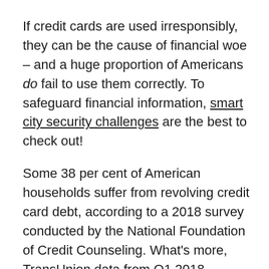If credit cards are used irresponsibly, they can be the cause of financial woe – and a huge proportion of Americans do fail to use them correctly. To safeguard financial information, smart city security challenges are the best to check out!
Some 38 per cent of American households suffer from revolving credit card debt, according to a 2018 survey conducted by the National Foundation of Credit Counseling. What's more, TransUnion data from Q1 2018 suggests that the average cardholder had $5,472 of credit card debt. This is the reason why it's best to be knowledgeable on the disadvantages of credit cards.